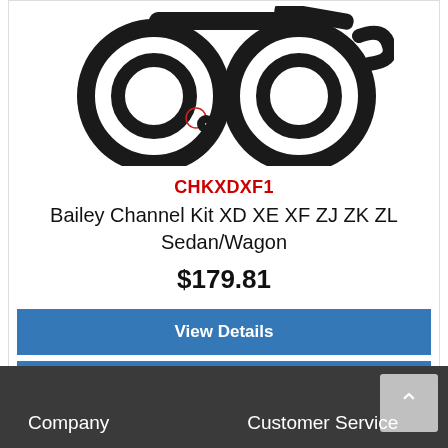[Figure (photo): Product photo showing black rubber channel/seal kit coiled in circular loops on a white background]
CHKXDXF1
Bailey Channel Kit XD XE XF ZJ ZK ZL Sedan/Wagon
$179.81
View Details
Add To Watch List
Newer →
Company    Customer Service